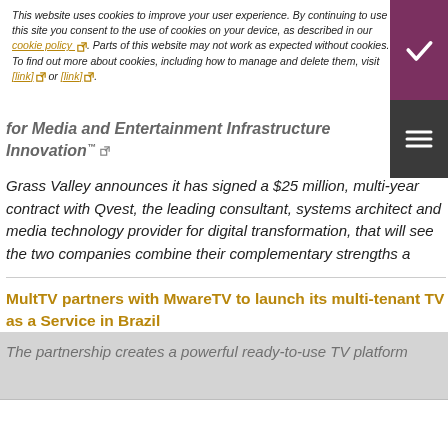This website uses cookies to improve your user experience. By continuing to use this site you consent to the use of cookies on your device, as described in our cookie policy. Parts of this website may not work as expected without cookies. To find out more about cookies, including how to manage and delete them, visit [link] or [link].
for Media and Entertainment Infrastructure Innovation
Grass Valley announces it has signed a $25 million, multi-year contract with Qvest, the leading consultant, systems architect and media technology provider for digital transformation, that will see the two companies combine their complementary strengths a
MultTV partners with MwareTV to launch its multi-tenant TV as a Service in Brazil
The partnership creates a powerful ready-to-use TV platform